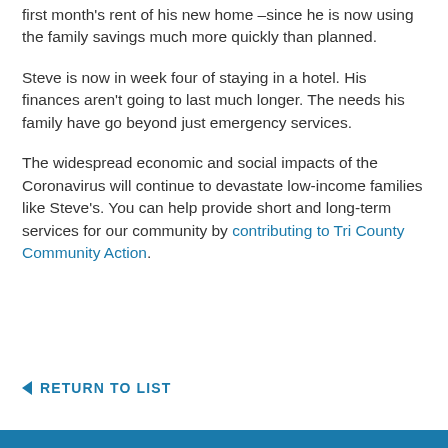first month's rent of his new home –since he is now using the family savings much more quickly than planned.
Steve is now in week four of staying in a hotel. His finances aren't going to last much longer. The needs his family have go beyond just emergency services.
The widespread economic and social impacts of the Coronavirus will continue to devastate low-income families like Steve's. You can help provide short and long-term services for our community by contributing to Tri County Community Action.
< RETURN TO LIST